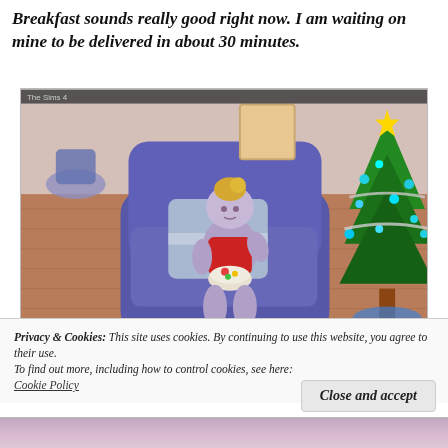Breakfast sounds really good right now. I am waiting on mine to be delivered in about 30 minutes.
[Figure (screenshot): Screenshot from The Sims 4 showing a toddler character with blonde hair sitting in a large blue armchair, eating from a bowl. The room has wooden floors, and a decorated Christmas tree is visible in the background on the right side.]
Privacy & Cookies: This site uses cookies. By continuing to use this website, you agree to their use.
To find out more, including how to control cookies, see here: Cookie Policy
Close and accept